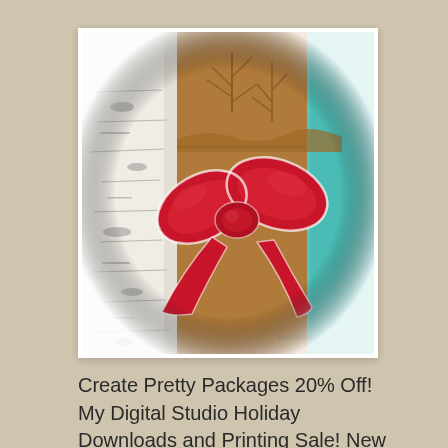[Figure (photo): A decorative holiday gift package with a white birch bark texture on the left, brown kraft paper with embossed tree design in the center, a teal/turquoise stripe on the right, and a large red grosgrain ribbon bow with white edging in the center. Small watermark text in lower right reads 'Two Tildes'.]
Create Pretty Packages 20% Off! My Digital Studio Holiday Downloads and Printing Sale! New Arrivals! It's amazing how a little